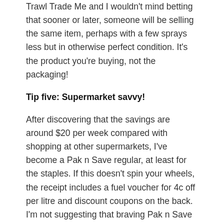Trawl Trade Me and I wouldn't mind betting that sooner or later, someone will be selling the same item, perhaps with a few sprays less but in otherwise perfect condition. It's the product you're buying, not the packaging!
Tip five: Supermarket savvy!
After discovering that the savings are around $20 per week compared with shopping at other supermarkets, I've become a Pak n Save regular, at least for the staples. If this doesn't spin your wheels, the receipt includes a fuel voucher for 4c off per litre and discount coupons on the back. I'm not suggesting that braving Pak n Save can help your appearance, but slashing money off one of your biggest weekly expenses is worth smiling about. Relating this back to appearances,